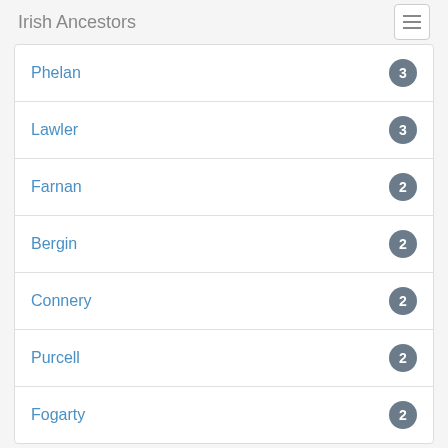Irish Ancestors
Phelan 3
Lawler 3
Farnan 2
Bergin 2
Connery 2
Purcell 2
Fogarty 2
Click on a place-name below to see its Griffith's Valuation record.